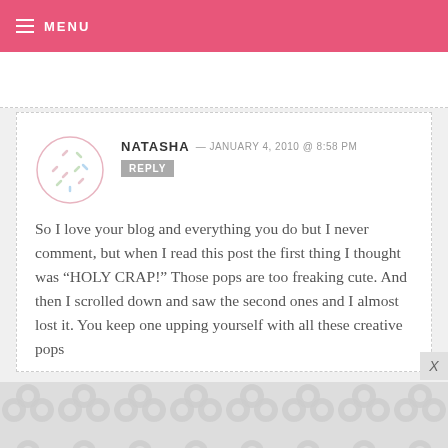MENU
NATASHA — JANUARY 4, 2010 @ 8:58 PM REPLY
So I love your blog and everything you do but I never comment, but when I read this post the first thing I thought was “HOLY CRAP!” Those pops are too freaking cute. And then I scrolled down and saw the second ones and I almost lost it. You keep one upping yourself with all these creative pops